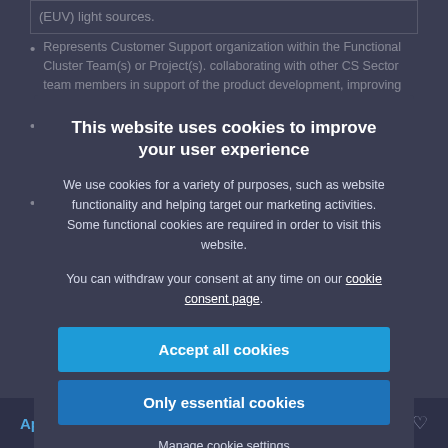(EUV) light sources.
Represents Customer Support organization within the Functional Cluster Team(s) or Project(s). collaborating with other CS Sector team members in support of the product development, improving the reliability and Safety of specific EUV light source used.
Reports to the CS NPI Director and leads team members in all responsibilities and takes ownership of and is responsible for the creation new product introduction plans and improvements on specific phases during the lifetime of the product.
Leads multiple projects within the Cluster and operates independently managing project assignments in alignment with the Development Program Priorities and CS Sector business needs.
This website uses cookies to improve your user experience
We use cookies for a variety of purposes, such as website functionality and helping target our marketing activities. Some functional cookies are required in order to visit this website.
You can withdraw your consent at any time on our cookie consent page.
Accept all cookies
Only essential cookies
Manage cookie settings
Apply now →
ms